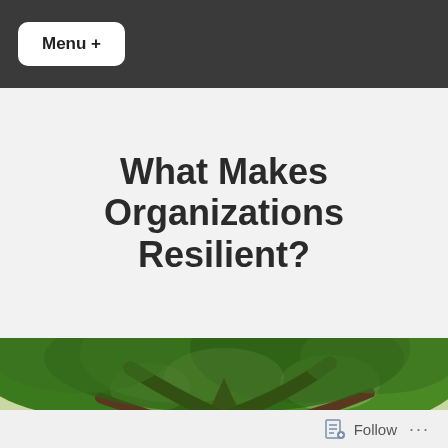Menu +
What Makes Organizations Resilient?
[Figure (photo): A large, ancient tree with wide-spreading branches and lush green foliage, photographed from below looking up.]
Follow ...